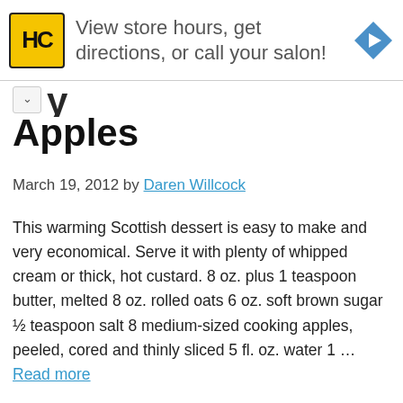[Figure (other): Advertisement banner for Hair Club (HC logo in yellow square) with text 'View store hours, get directions, or call your salon!' and a blue navigation diamond icon on the right.]
Apples
March 19, 2012 by Daren Willcock
This warming Scottish dessert is easy to make and very economical. Serve it with plenty of whipped cream or thick, hot custard. 8 oz. plus 1 teaspoon butter, melted 8 oz. rolled oats 6 oz. soft brown sugar ½ teaspoon salt 8 medium-sized cooking apples, peeled, cored and thinly sliced 5 fl. oz. water 1 … Read more